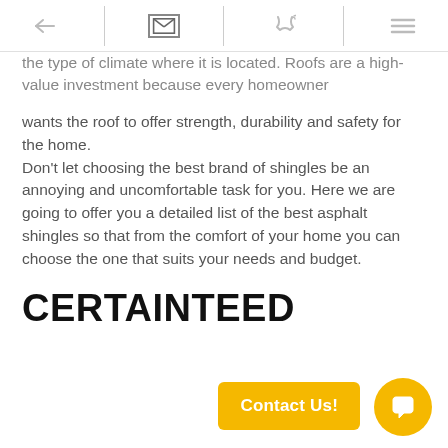[navigation bar with back arrow, email icon, phone icon, menu icon]
the type of climate where it is located. Roofs are a high-value investment because every homeowner
wants the roof to offer strength, durability and safety for the home.
Don't let choosing the best brand of shingles be an annoying and uncomfortable task for you. Here we are going to offer you a detailed list of the best asphalt shingles so that from the comfort of your home you can choose the one that suits your needs and budget.
CERTAINTEED